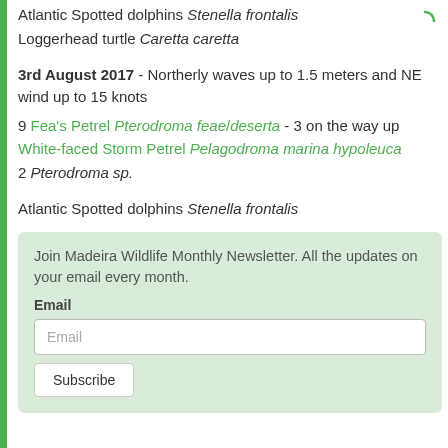Atlantic Spotted dolphins Stenella frontalis
Loggerhead turtle Caretta caretta
3rd August 2017 - Northerly waves up to 1.5 meters and NE wind up to 15 knots
9 Fea's Petrel Pterodroma feae/deserta - 3 on the way up
White-faced Storm Petrel Pelagodroma marina hypoleuca
2 Pterodroma sp.
Atlantic Spotted dolphins Stenella frontalis
Join Madeira Wildlife Monthly Newsletter. All the updates on your email every month.
Email